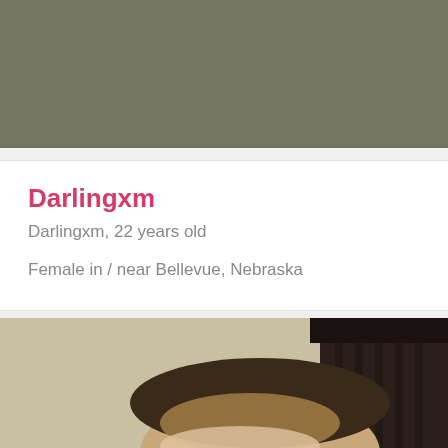[Figure (photo): Top portion of a profile photo, dark greenish-brown background/wall visible, cropped showing no face details]
Darlingxm
Darlingxm, 22 years old
Female in / near Bellevue, Nebraska
[Figure (photo): Bottom portion of a selfie photo showing the top of a person's head with light brown hair, with dark curtains visible in the background]